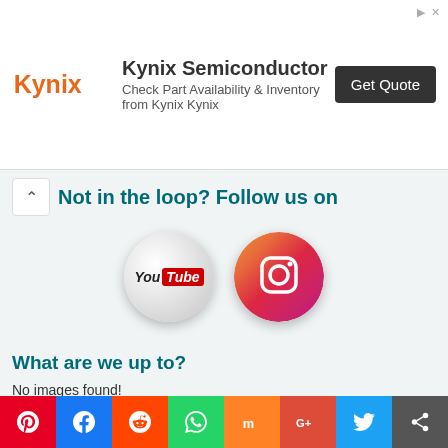[Figure (infographic): Kynix Semiconductor advertisement banner with logo, text 'Check Part Availability & Inventory from Kynix Kynix', and 'Get Quote' button]
Not in the loop? Follow us on
[Figure (illustration): YouTube logo on a silver/grey glossy 3D sphere button]
[Figure (illustration): Instagram logo on a gradient pink/orange glossy 3D sphere button]
What are we up to?
No images found!
Try some other hashtag or username
Travel Tips
[Figure (infographic): Social media share bar with Pinterest, Facebook, Reddit, WhatsApp, Mix, Google+, Twitter, and Share buttons]